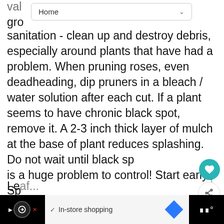Home
sanitation - clean up and destroy debris, especially around plants that have had a problem. When pruning roses, even deadheading, dip pruners in a bleach / water solution after each cut. If a plant seems to have chronic black spot, remove it. A 2-3 inch thick layer of mulch at the base of plant reduces splashing. Do not wait until black spot is a huge problem to control! Start early. Spray with a fungicide labeled for black spot on roses.
Pest : Leaf Miners